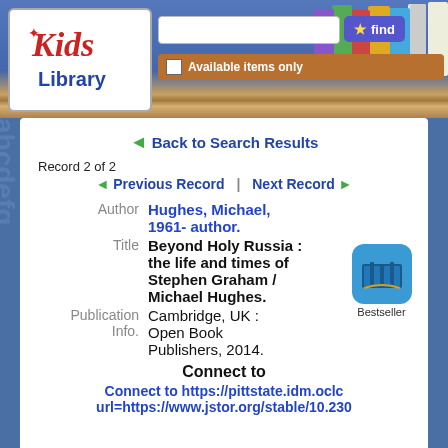[Figure (screenshot): Kids Library catalog interface header with logo, search bar, find button, and 'Available items only' checkbox on a bookshelf background]
Back to Search Results
Record 2 of 2
Previous Record | Next Record
| Field | Value |
| --- | --- |
| Author | Hughes, Michael, 1961- author. |
| Title | Beyond Holy Russia : the life and times of Stephen Graham / Michael Hughes. |
| Publication Info. | Cambridge, UK : Open Book Publishers, 2014. |
Connect to
Connect to https://pittstate.idm.oclc... url=https://www.jstor.org/stable/10.230...